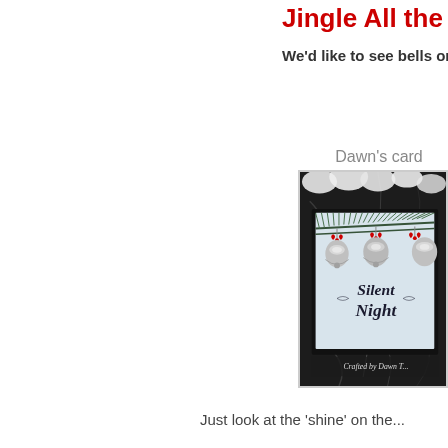Jingle All the Way!
We'd like to see bells on your ca...
Dawn's card
[Figure (photo): A Christmas card photograph showing silver jingle bells with red bows hanging from pine branches, with 'Silent Night' text, framed in black against a dark marble background with white flowers. Watermark reads 'Crafted by Dawn T'.]
Just look at the 'shine' on the...